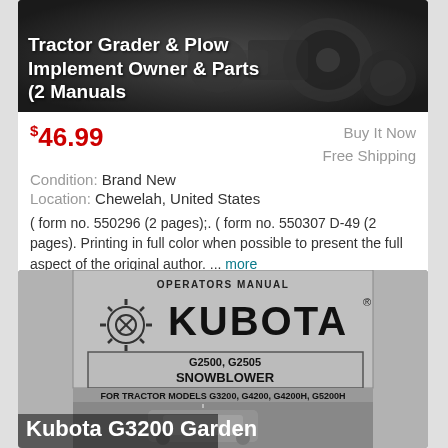[Figure (photo): Dark background photo of a tractor engine/implement with white bold text overlay showing product title]
Tractor Grader & Plow Implement Owner & Parts (2 Manuals
$46.99  Buy It Now  Free Shipping  Condition: Brand New  Location: Chewelah, United States
( form no. 550296 (2 pages);. ( form no. 550307 D-49 (2 pages). Printing in full color when possible to present the full aspect of the original author. ... more
[Figure (photo): Kubota Operators Manual cover for G2500, G2505 Snowblower for tractor models G3200, G4200, G4200H, G5200H with gear logo and snowblower image]
Kubota G3200 Garden